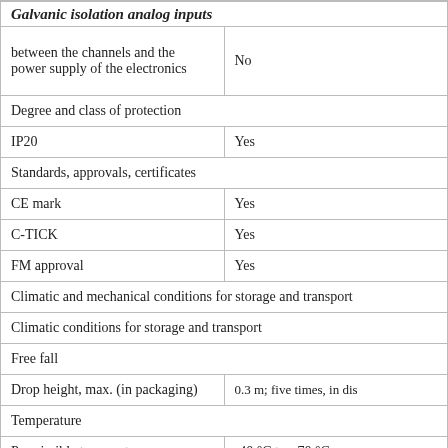| Property | Value |
| --- | --- |
| between the channels and the power supply of the electronics | No |
| Degree and class of protection |  |
| IP20 | Yes |
| Standards, approvals, certificates |  |
| CE mark | Yes |
| C-TICK | Yes |
| FM approval | Yes |
| Climatic and mechanical conditions for storage and transport |  |
| Climatic conditions for storage and transport |  |
| Free fall |  |
| Drop height, max. (in packaging) | 0.3 m; five times, in dis... |
| Temperature |  |
| Permissible temperature range | -40 °C to +70 °C |